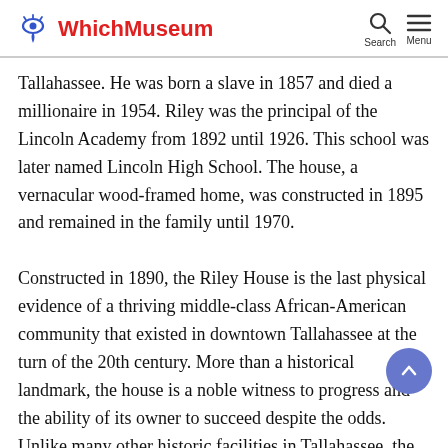WhichMuseum
Tallahassee. He was born a slave in 1857 and died a millionaire in 1954. Riley was the principal of the Lincoln Academy from 1892 until 1926. This school was later named Lincoln High School. The house, a vernacular wood-framed home, was constructed in 1895 and remained in the family until 1970. Constructed in 1890, the Riley House is the last physical evidence of a thriving middle-class African-American community that existed in downtown Tallahassee at the turn of the 20th century. More than a historical landmark, the house is a noble witness to progress and the ability of its owner to succeed despite the odds. Unlike many other historic facilities in Tallahassee, the Riley House has humble beginnings. The...